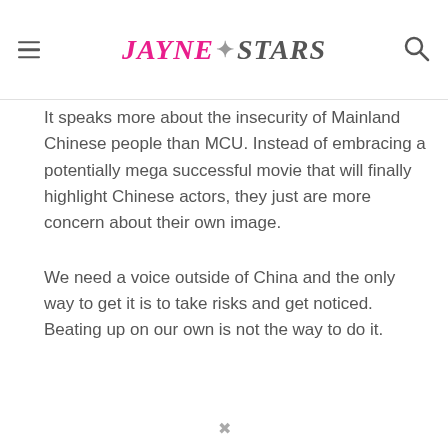Jayne Stars
It speaks more about the insecurity of Mainland Chinese people than MCU. Instead of embracing a potentially mega successful movie that will finally highlight Chinese actors, they just are more concern about their own image.
We need a voice outside of China and the only way to get it is to take risks and get noticed. Beating up on our own is not the way to do it.